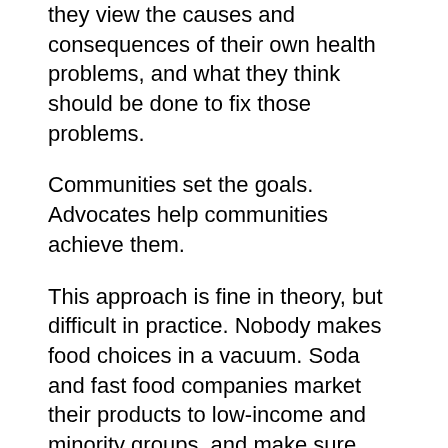they view the causes and consequences of their own health problems, and what they think should be done to fix those problems.
Communities set the goals. Advocates help communities achieve them.
This approach is fine in theory, but difficult in practice. Nobody makes food choices in a vacuum. Soda and fast food companies market their products to low-income and minority groups, and make sure their products are inexpensive, readily available and ubiquitously advertised.
To gain traction, food and beverage companies support the activities of community groups, sponsor playgrounds, and place their brand logos on everything they can. My favorite recent example is Coca-Cola's $3 million gift to